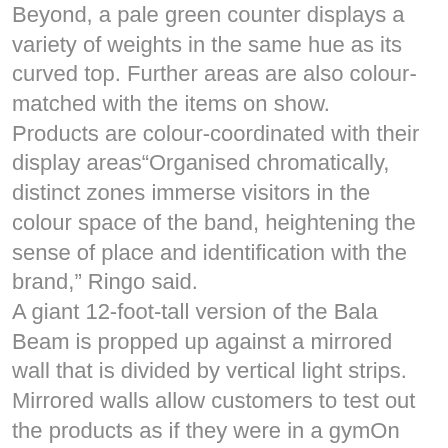Beyond, a pale green counter displays a variety of weights in the same hue as its curved top. Further areas are also colour-matched with the items on show. Products are colour-coordinated with their display areas“Organised chromatically, distinct zones immerse visitors in the colour space of the band, heightening the sense of place and identification with the brand,” Ringo said. A giant 12-foot-tall version of the Bala Beam is propped up against a mirrored wall that is divided by vertical light strips. Mirrored walls allow customers to test out the products as if they were in a gymOn the opposite side, an oversized replica of a Bangle